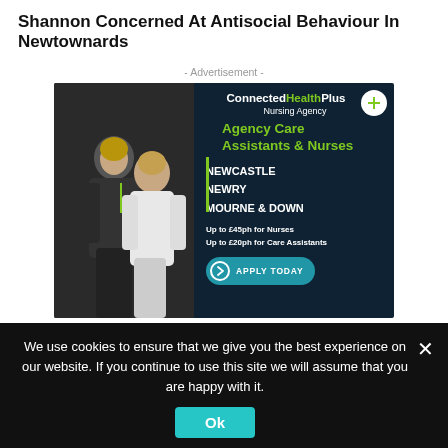Shannon Concerned At Antisocial Behaviour In Newtownards
- Advertisement -
[Figure (photo): ConnectedHealthPlus Nursing Agency advertisement featuring two nurses and job listings for Agency Care Assistants & Nurses in Newcastle, Newry, Mourne & Down with pay rates up to £45ph for Nurses and £20ph for Care Assistants, with an Apply Today button.]
We use cookies to ensure that we give you the best experience on our website. If you continue to use this site we will assume that you are happy with it.